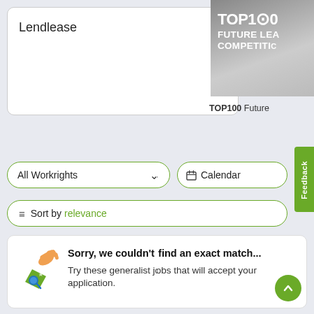Lendlease
[Figure (screenshot): TOP100 Future Leaders Competition badge/logo — grey gradient background with bold white text]
TOP100 Future
Feedback
All Workrights
Calendar
Sort by relevance
Sorry, we couldn't find an exact match... Try these generalist jobs that will accept your application.